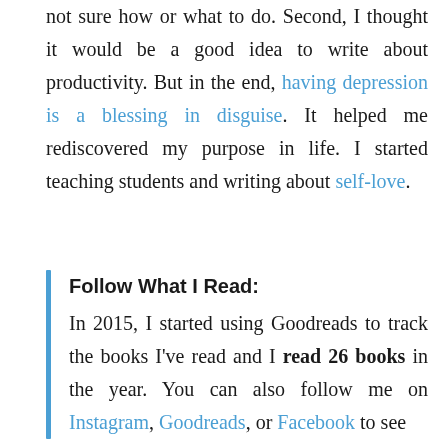not sure how or what to do. Second, I thought it would be a good idea to write about productivity. But in the end, having depression is a blessing in disguise. It helped me rediscovered my purpose in life. I started teaching students and writing about self-love.
Follow What I Read:
In 2015, I started using Goodreads to track the books I've read and I read 26 books in the year. You can also follow me on Instagram, Goodreads, or Facebook to see